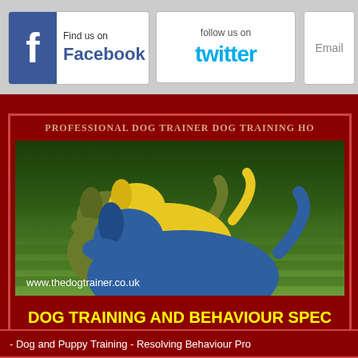[Figure (screenshot): Facebook 'Find us on Facebook' button with blue Facebook icon on left]
[Figure (screenshot): Twitter 'follow us on twitter' button with cyan Twitter logo text]
[Figure (screenshot): Partial Email button]
PROFESSIONAL DOG TRAINER DOG TRAINING HO
[Figure (logo): Dog trainer logo with three dog silhouettes in yellow, olive/dark green, and blue sitting on a green striped grass background. URL www.thedogtrainer.co.uk shown in white text at bottom left.]
DOG TRAINING AND BEHAVIOUR SPEC
- Dog and Puppy Training - Resolving Behaviour Pro